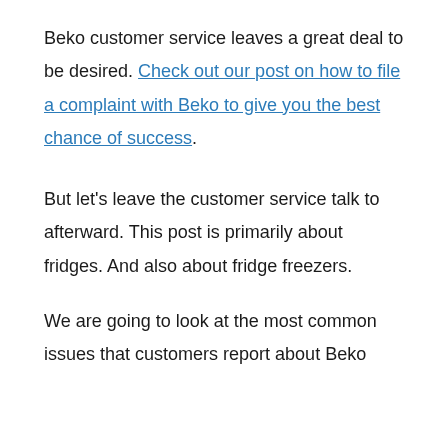Beko customer service leaves a great deal to be desired. Check out our post on how to file a complaint with Beko to give you the best chance of success.
But let’s leave the customer service talk to afterward. This post is primarily about fridges. And also about fridge freezers.
We are going to look at the most common issues that customers report about Beko...